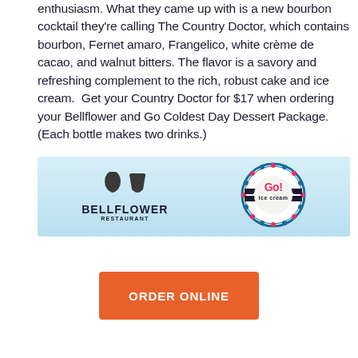enthusiasm. What they came up with is a new bourbon cocktail they're calling The Country Doctor, which contains bourbon, Fernet amaro, Frangelico, white crème de cacao, and walnut bitters. The flavor is a savory and refreshing complement to the rich, robust cake and ice cream.  Get your Country Doctor for $17 when ordering your Bellflower and Go Coldest Day Dessert Package. (Each bottle makes two drinks.)
[Figure (logo): Bellflower Restaurant logo (two abstract dark shapes above bold text BELLFLOWER RESTAURANT) on left and Go! Ice Cream circular logo on right, on a light blue gradient background.]
ORDER ONLINE